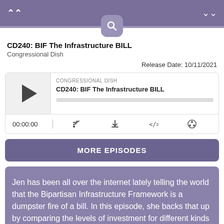CD240: BIF The Infrastructure BILL - Congressional Dish
CD240: BIF The Infrastructure BILL
Congressional Dish
Release Date: 10/11/2021
[Figure (screenshot): Audio player widget showing CONGRESSIONAL DISH podcast, episode CD240: BIF The Infrastructure BILL, with play button, progress bar, timestamp 00:00:00, and control icons for RSS, download, embed, and settings]
MORE EPISODES
Jen has been all over the internet lately telling the world that the Bipartisan Infrastructure Framework is a dumpster fire of a bill. In this episode, she backs that up by comparing the levels of investment for different kinds of infrastructure and examining the society changing effects the bill